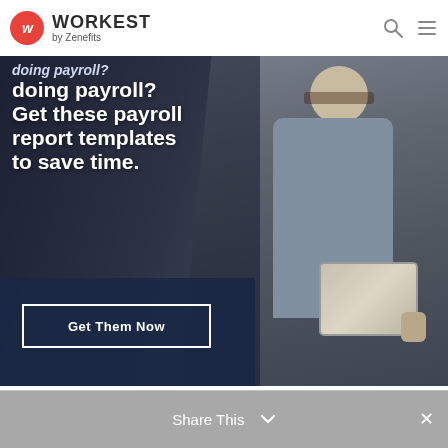WORKEST by Zenefits
[Figure (photo): Banner image showing a professional woman with glasses and short blonde hair smiling while holding a tablet, with a man in background. Dark overlay on left side with white bold text: 'doing payroll? Get these payroll report templates to save time.' A dark navy panel at the bottom left contains a 'Get Them Now' button with white border.]
doing payroll? Get these payroll report templates to save time.
Get Them Now
Share This ×